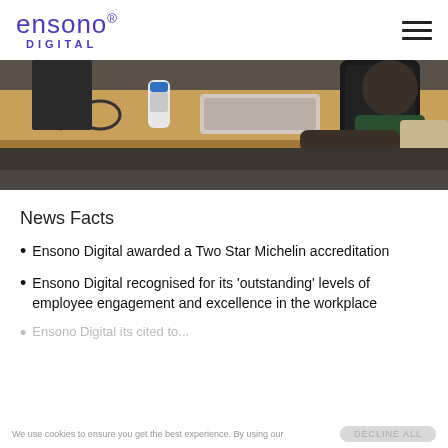ensono® DIGITAL
[Figure (photo): Office workplace photo showing people sitting at a wooden desk with a keyboard, can, and office chair in the foreground]
News Facts
Ensono Digital awarded a Two Star Michelin accreditation
Ensono Digital recognised for its 'outstanding' levels of employee engagement and excellence in the workplace
Ensono Digital its cited to...